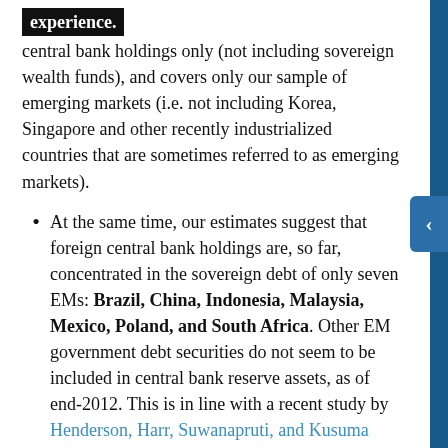ho[redacted] experience. central bank holdings only (not including sovereign wealth funds), and covers only our sample of emerging markets (i.e. not including Korea, Singapore and other recently industrialized countries that are sometimes referred to as emerging markets).
At the same time, our estimates suggest that foreign central bank holdings are, so far, concentrated in the sovereign debt of only seven EMs: Brazil, China, Indonesia, Malaysia, Mexico, Poland, and South Africa. Other EM government debt securities do not seem to be included in central bank reserve assets, as of end-2012. This is in line with a recent study by Henderson, Harr, Suwanapruti, and Kusuma (2012), which identifies the same seven countries as receiving the lion share of foreign central bank flows, based on discussions with reserve managers.
Our list of seven countries is also in line with a recent IMF survey of reserve managers that found that the most common allocation to EM...